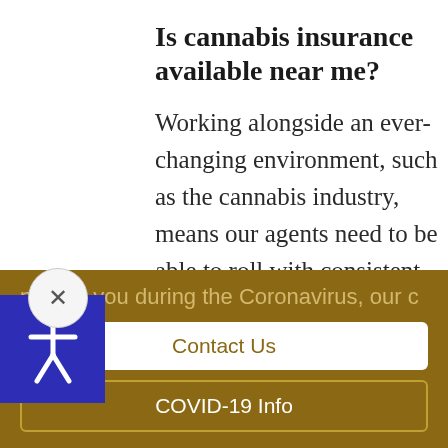Is cannabis insurance available near me?
Working alongside an ever-changing environment, such as the cannabis industry, means our agents need to be able to roll with consistent developments. The agents at Mosaic Insurance Alliance, LLC are committed to growing and evolving with the
protect you during the Coronavirus, our c
Contact Us
COVID-19 Info